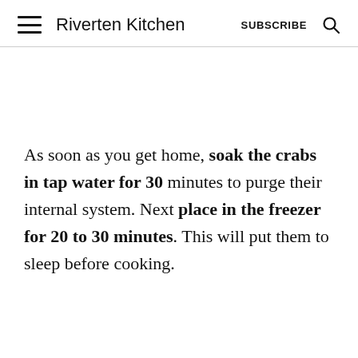Riverten Kitchen  SUBSCRIBE
As soon as you get home, soak the crabs in tap water for 30 minutes to purge their internal system. Next place in the freezer for 20 to 30 minutes. This will put them to sleep before cooking.